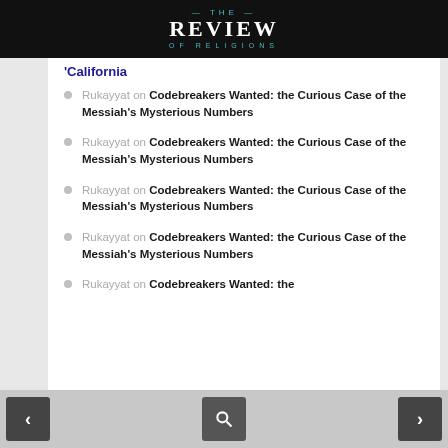THE REVIEW OF RELIGIONS
'California
Rukayyat on Codebreakers Wanted: the Curious Case of the Messiah's Mysterious Numbers
Rukayyat on Codebreakers Wanted: the Curious Case of the Messiah's Mysterious Numbers
Rukayyat on Codebreakers Wanted: the Curious Case of the Messiah's Mysterious Numbers
Rukayyat on Codebreakers Wanted: the Curious Case of the Messiah's Mysterious Numbers
Rukayyat on Codebreakers Wanted: the
< [search] >